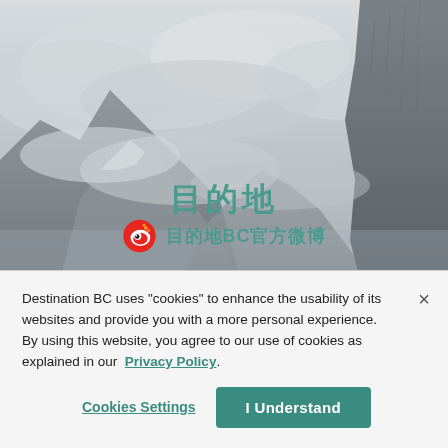[Figure (photo): Mountain landscape with clouds and misty peaks, grey-blue tones, steep rocky cliffs on right side]
□□□□
□□□BC□□□□
Destination BC uses "cookies" to enhance the usability of its websites and provide you with a more personal experience. By using this website, you agree to our use of cookies as explained in our Privacy Policy.
Cookies Settings
I Understand